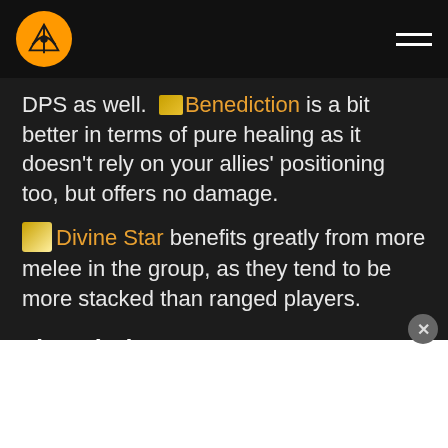IcyVeins logo and navigation
DPS as well. Benediction is a bit better in terms of pure healing as it doesn't rely on your allies' positioning too, but offers no damage.
Divine Star benefits greatly from more melee in the group, as they tend to be more stacked than ranged players.
Tier 7 (50)
Light of the Naaru — Passive
Apotheosis